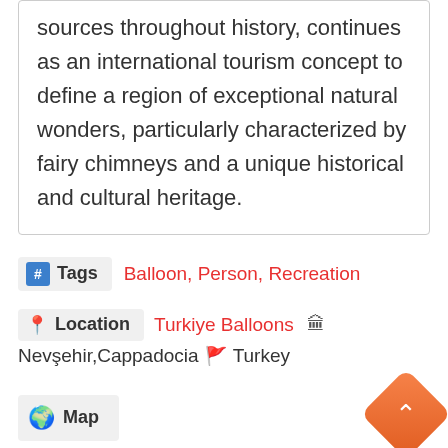sources throughout history, continues as an international tourism concept to define a region of exceptional natural wonders, particularly characterized by fairy chimneys and a unique historical and cultural heritage.
Tags  Balloon, Person, Recreation
Location  Turkiye Balloons  Nevşehir,Cappadocia  Turkey
Map